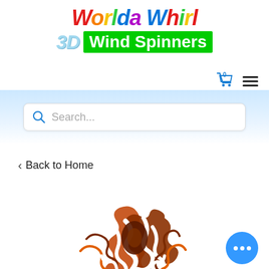Worlda Whirl 3D Wind Spinners
Search...
< Back to Home
[Figure (illustration): A colorful 3D wind spinner product with brown, orange, and white wavy spiral patterns forming a flower/sunflower shape]